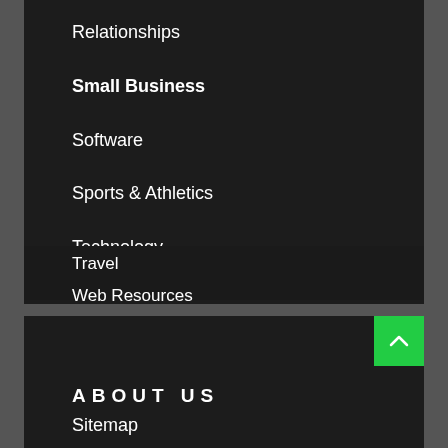Relationships
Small Business
Software
Sports & Athletics
Technology
Travel
Web Resources
ABOUT US
Sitemap
Disclosure Policy